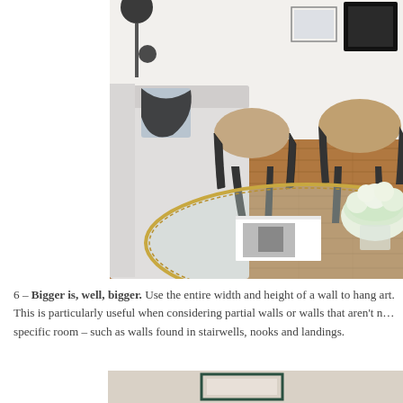[Figure (photo): Interior living room photo showing a white sofa with blue and black pillows, a round gold-framed glass coffee table with white hydrangea flowers and coffee table books, two wooden bucket chairs with black metal legs on hardwood floors, and framed art on white walls.]
6 – Bigger is, well, bigger. Use the entire width and height of a wall to hang art. This is particularly useful when considering partial walls or walls that aren't necessarily tied to a specific room – such as walls found in stairwells, nooks and landings.
[Figure (photo): Partial view of a room with a beige/neutral wall and a dark-framed artwork or mirror centered on the wall.]